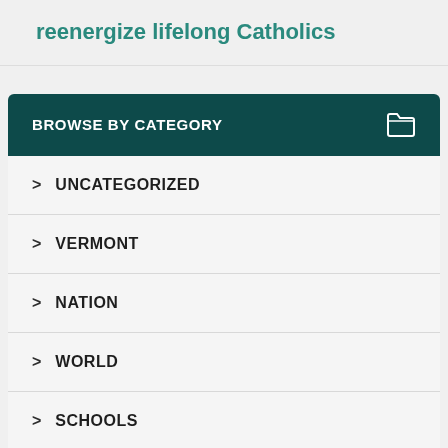reenergize lifelong Catholics
BROWSE BY CATEGORY
UNCATEGORIZED
VERMONT
NATION
WORLD
SCHOOLS
VATICAN